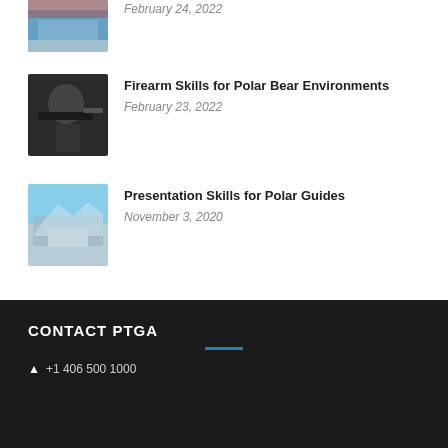[Figure (photo): Partial view of a water/rafting action photo at top of page]
February 24, 2022
[Figure (photo): Person aiming a firearm, dark background]
Firearm Skills for Polar Bear Environments
February 23, 2022
[Figure (photo): Arctic landscape with mountains and water]
Presentation Skills for Polar Guides
November 3, 2020
CONTACT PTGA
+1 406 500 1000